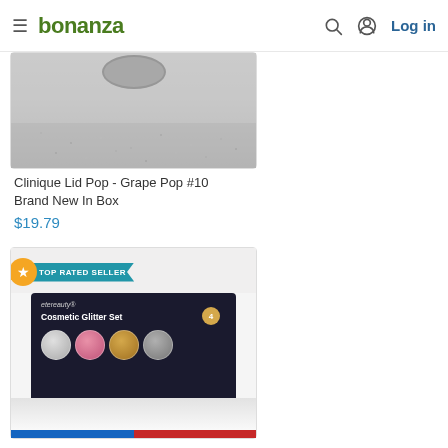bonanza — Log in
[Figure (photo): Partial product image of Clinique Lid Pop eyeshadow compact on gray glitter background, only bottom portion visible]
Clinique Lid Pop - Grape Pop #10 Brand New In Box
$19.79
[Figure (photo): Product image of ETEREAUTY Cosmetic Glitter Set in dark navy box showing 4 glitter pots (silver, pink, gold, gray), with TOP RATED SELLER badge overlay]
ETEREAUTY Glitter Eyeshadow 4 Colors Glitter Powder Eyeshadow No Ba...